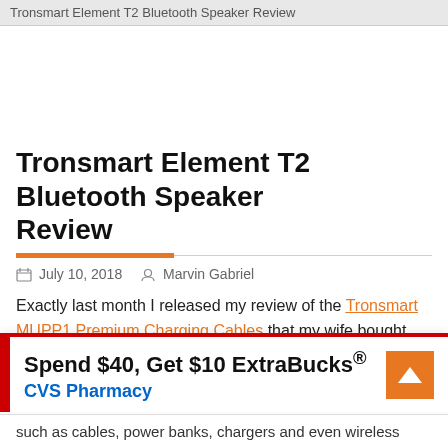Tronsmart Element T2 Bluetooth Speaker Review
Tronsmart Element T2 Bluetooth Speaker Review
July 10, 2018   Marvin Gabriel
Exactly last month I released my review of the Tronsmart MUPP1 Premium Charging Cables that my wife bought from Lazada, and Tronsmart was kind enough to send me another
[Figure (other): CVS Pharmacy advertisement: Spend $40, Get $10 ExtraBucks® CVS Pharmacy, with orange scroll-to-top button]
such as cables, power banks, chargers and even wireless